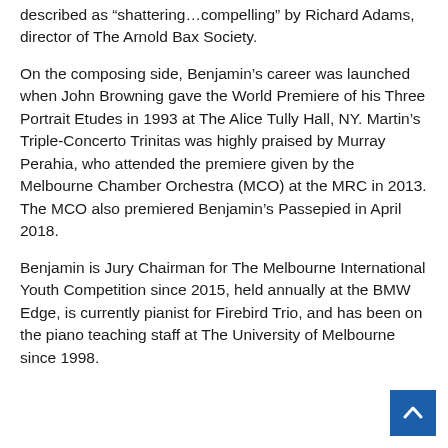described as “shattering…compelling” by Richard Adams, director of The Arnold Bax Society.
On the composing side, Benjamin’s career was launched when John Browning gave the World Premiere of his Three Portrait Etudes in 1993 at The Alice Tully Hall, NY. Martin’s Triple-Concerto Trinitas was highly praised by Murray Perahia, who attended the premiere given by the Melbourne Chamber Orchestra (MCO) at the MRC in 2013. The MCO also premiered Benjamin’s Passepied in April 2018.
Benjamin is Jury Chairman for The Melbourne International Youth Competition since 2015, held annually at the BMW Edge, is currently pianist for Firebird Trio, and has been on the piano teaching staff at The University of Melbourne since 1998.